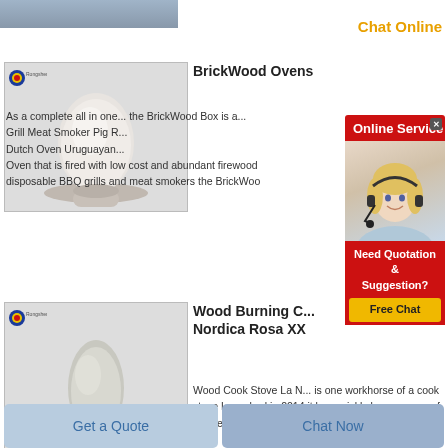[Figure (screenshot): Top portion of a product image (partially visible), gray-blue tones]
Chat Online
[Figure (photo): Product image: white powder in a round-bottomed bowl/trophy shape on light gray background, with Rongsheng logo badge in top left]
BrickWood Ovens
As a complete all in one... the BrickWood Box is a... Grill Meat Smoker Pig R... Dutch Oven Uruguayan... Oven that is fired with low cost and abundant firewood disposable BBQ grills and meat smokers the BrickWoo
[Figure (screenshot): Online Service chat popup overlay — red banner reading 'Online Service', image of blonde female customer service agent wearing headset, below: 'Need Quotation & Suggestion?' with yellow 'Free Chat' button]
[Figure (photo): Product image: gray-white powder in egg/teardrop shape on light gray background, with Rongsheng logo badge in top left]
Wood Burning C... Nordica Rosa XX
Wood Cook Stove La N... is one workhorse of a cook stove Launched in 2014 it has quickly become one of our best sellers
Chat Online
Get a Quote
Chat Now